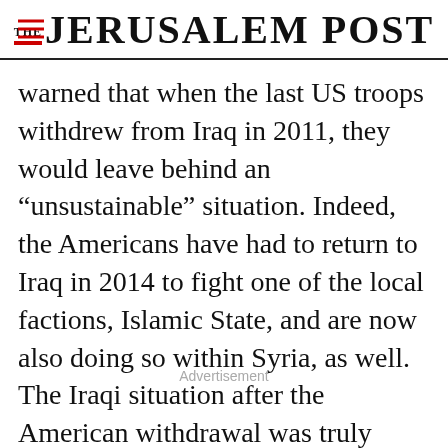THE JERUSALEM POST
warned that when the last US troops withdrew from Iraq in 2011, they would leave behind an “unsustainable” situation. Indeed, the Americans have had to return to Iraq in 2014 to fight one of the local factions, Islamic State, and are now also doing so within Syria, as well. The Iraqi situation after the American withdrawal was truly unsustainable, but many great Western pundits could not see the writing on the wall. That should serve as a lesson – that there is a need for the
Advertisement